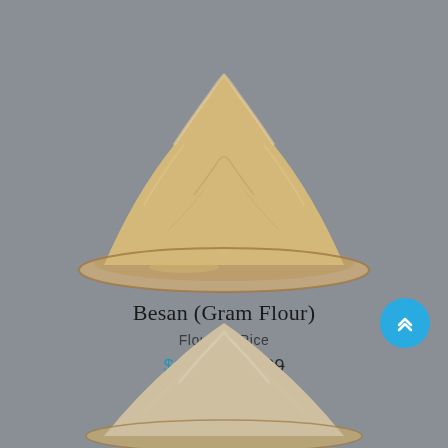[Figure (photo): A mound of besan (gram flour) piled on a round wooden plate/dish, photographed against a gray background. The flour is yellowish-beige in color with a coarse, granular texture.]
Besan (Gram Flour)
Flours & Rice
$14.99 $17.99
[Figure (photo): A mound of lighter colored flour (possibly wheat or rice flour) piled on a round wooden plate/dish, photographed against a gray background. The flour appears lighter and finer than the besan above.]